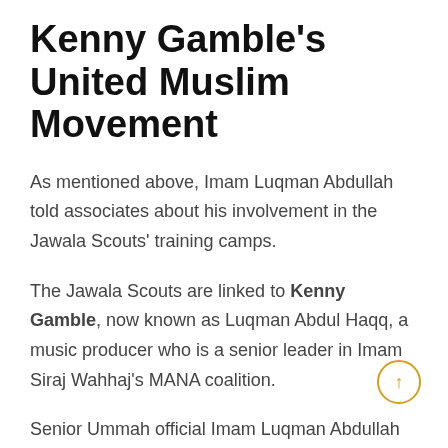Kenny Gamble's United Muslim Movement
As mentioned above, Imam Luqman Abdullah told associates about his involvement in the Jawala Scouts' training camps.
The Jawala Scouts are linked to Kenny Gamble, now known as Luqman Abdul Haqq, a music producer who is a senior leader in Imam Siraj Wahhaj's MANA coalition.
Senior Ummah official Imam Luqman Abdullah was